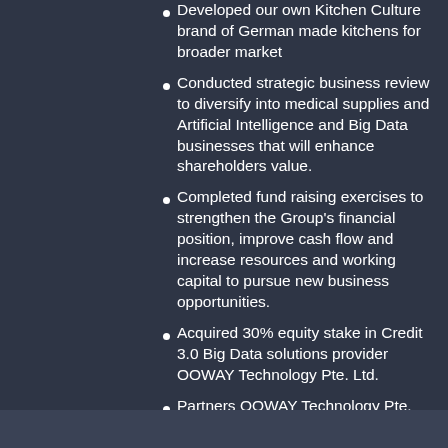Developed our own Kitchen Culture brand of German made kitchens for broader market
Conducted strategic business review to diversify into medical supplies and Artificial Intelligence and Big Data businesses that will enhance shareholders value.
Completed fund raising exercises to strengthen the Group's financial position, improve cash flow and increase resources and working capital to pursue new business opportunities.
Acquired 30% equity stake in Credit 3.0 Big Data solutions provider OOWAY Technology Pte. Ltd.
Partners OOWAY Technology Pte. Ltd. to provide services to Camel Financial, nominated financial solutions partner of DHgate.com ()